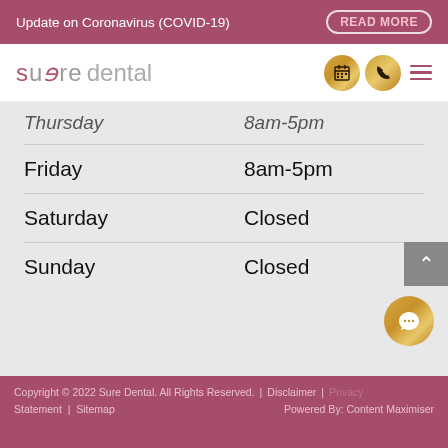Update on Coronavirus (COVID-19) READ MORE
[Figure (logo): Sure Dental logo with gold calendar and phone icons and hamburger menu]
| Day | Hours |
| --- | --- |
| Thursday | 8am-5pm |
| Friday | 8am-5pm |
| Saturday | Closed |
| Sunday | Closed |
Copyright © 2022 Sure Dental. All Rights Reserved. | Disclaimer | Privacy Statement | Sitemap   Powered By: Content Maximiser